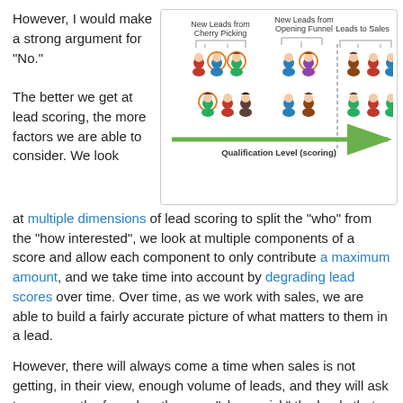However, I would make a strong argument for "No."
[Figure (infographic): Diagram showing lead scoring qualification levels with three categories: 'New Leads from Cherry Picking', 'New Leads from Opening Funnel', and 'Leads to Sales', illustrated with person icons and a green arrow labeled 'Qualification Level (scoring)']
The better we get at lead scoring, the more factors we are able to consider. We look at multiple dimensions of lead scoring to split the "who" from the "how interested", we look at multiple components of a score and allow each component to only contribute a maximum amount, and we take time into account by degrading lead scores over time. Over time, as we work with sales, we are able to build a fairly accurate picture of what matters to them in a lead.
However, there will always come a time when sales is not getting, in their view, enough volume of leads, and they will ask to open up the funnel so they can "cherry pick" the leads that they deem good. Sounds harmless, as some might turn